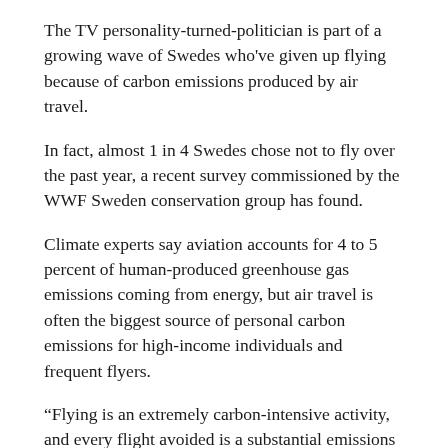The TV personality-turned-politician is part of a growing wave of Swedes who've given up flying because of carbon emissions produced by air travel.
In fact, almost 1 in 4 Swedes chose not to fly over the past year, a recent survey commissioned by the WWF Sweden conservation group has found.
Climate experts say aviation accounts for 4 to 5 percent of human-produced greenhouse gas emissions coming from energy, but air travel is often the biggest source of personal carbon emissions for high-income individuals and frequent flyers.
“Flying is an extremely carbon-intensive activity, and every flight avoided is a substantial emissions savings,” said Kimberly Nicholas, a climate change researcher and lecturer at Lund University in Sweden.